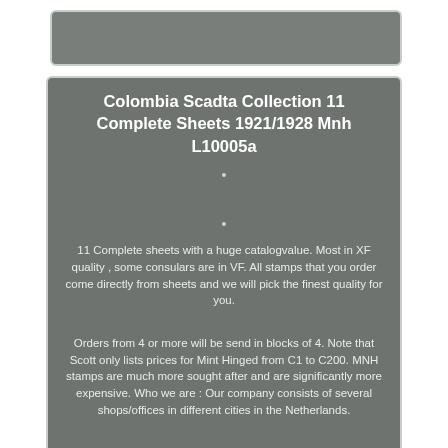[Figure (other): Gray header bar at top of page]
Colombia Scadta Collection 11 Complete Sheets 1921/1928 Mnh L10005a
11 Complete sheets with a huge catalogvalue. Most in XF quality , some consulars are in VF. All stamps that you order come directly from sheets and we will pick the finest quality for you.
Orders from 4 or more will be send in blocks of 4. Note that Scott only lists prices for Mint Hinged from C1 to C200. MNH stamps are much more sought after and are significantly more expensive. Who we are : Our company consists of several shops/offices in different cities in the Netherlands.
We are a large professional dealer for decades. We always try to put more items for sale each week, but time is not on our side, unfortunately.......